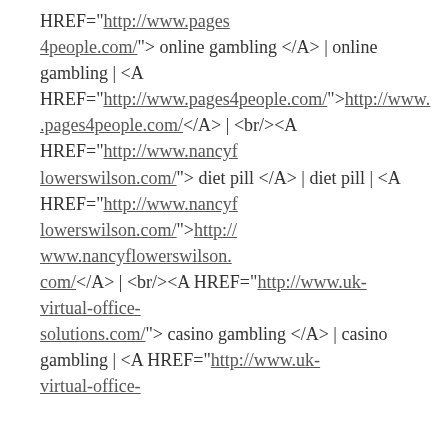HREF="http://www.pages4people.com/"> online gambling </A> | online gambling | <A HREF="http://www.pages4people.com/">http://www.pages4people.com/</A> | <br/><A HREF="http://www.nancyflowerswilson.com/"> diet pill </A> | diet pill | <A HREF="http://www.nancyflowerswilson.com/">http://www.nancyflowerswilson.com/</A> | <br/><A HREF="http://www.uk-virtual-office-solutions.com/"> casino gambling </A> | casino gambling | <A HREF="http://www.uk-virtual-office-solutions.com/">http://www.uk-virtual-office-